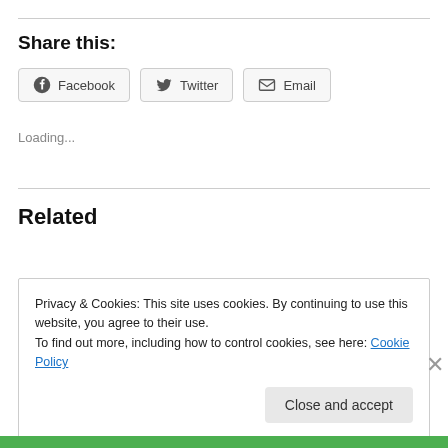Share this:
Facebook | Twitter | Email (share buttons)
Loading...
Related
Healthy or happy – but not both?
Privacy & Cookies: This site uses cookies. By continuing to use this website, you agree to their use. To find out more, including how to control cookies, see here: Cookie Policy